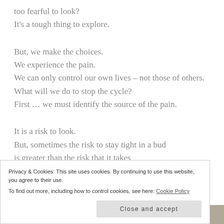too fearful to look?
It's a tough thing to explore.
But, we make the choices.
We experience the pain.
We can only control our own lives – not those of others.
What will we do to stop the cycle?
First … we must identify the source of the pain.
It is a risk to look.
But, sometimes the risk to stay tight in a bud
is greater than the risk that it takes
Privacy & Cookies: This site uses cookies. By continuing to use this website, you agree to their use. To find out more, including how to control cookies, see here: Cookie Policy
[Figure (photo): Bottom strip showing partial photo of a framed artwork or mirror]